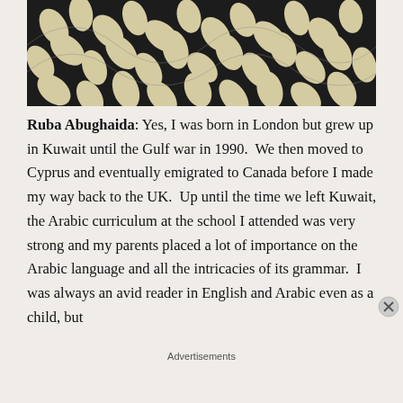[Figure (photo): Decorative photo showing a dark background with cream/beige leaf pattern design]
Ruba Abughaida: Yes, I was born in London but grew up in Kuwait until the Gulf war in 1990.  We then moved to Cyprus and eventually emigrated to Canada before I made my way back to the UK.  Up until the time we left Kuwait, the Arabic curriculum at the school I attended was very strong and my parents placed a lot of importance on the Arabic language and all the intricacies of its grammar.  I was always an avid reader in English and Arabic even as a child, but
Advertisements